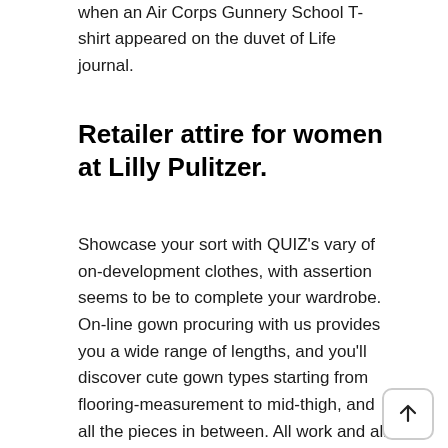when an Air Corps Gunnery School T-shirt appeared on the duvet of Life journal.
Retailer attire for women at Lilly Pulitzer.
Showcase your sort with QUIZ's vary of on-development clothes, with assertion seems to be to complete your wardrobe. On-line gown procuring with us provides you a wide range of lengths, and you'll discover cute gown types starting from flooring-measurement to mid-thigh, and all the pieces in between. All work and all play, our edit of males's shirts covers all bases. From gorgeous gold clothes to on-trend metallic